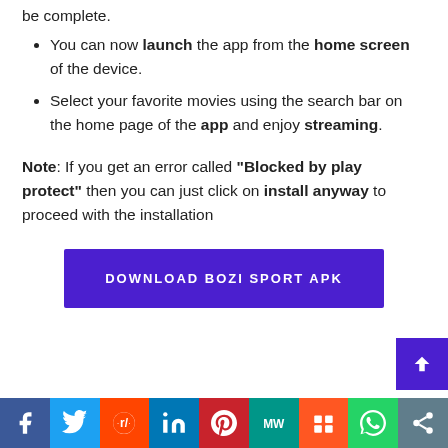be complete.
You can now launch the app from the home screen of the device.
Select your favorite movies using the search bar on the home page of the app and enjoy streaming.
Note: If you get an error called "Blocked by play protect" then you can just click on install anyway to proceed with the installation
[Figure (other): Download Bozi Sport APK button (purple/indigo background, white uppercase text)]
[Figure (other): Social sharing bar with icons: Facebook, Twitter, Reddit, LinkedIn, Pinterest, MeWe, Mix, WhatsApp, Share]